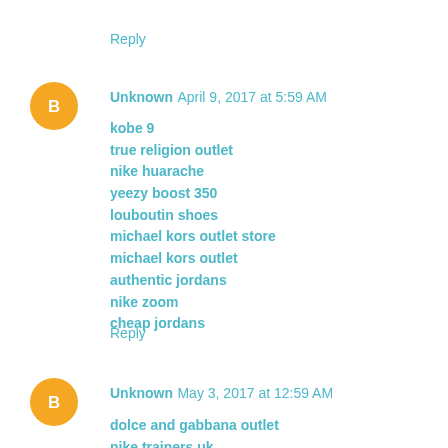Reply
Unknown  April 9, 2017 at 5:59 AM
kobe 9
true religion outlet
nike huarache
yeezy boost 350
louboutin shoes
michael kors outlet store
michael kors outlet
authentic jordans
nike zoom
cheap jordans
Reply
Unknown  May 3, 2017 at 12:59 AM
dolce and gabbana outlet
nike trainers uk